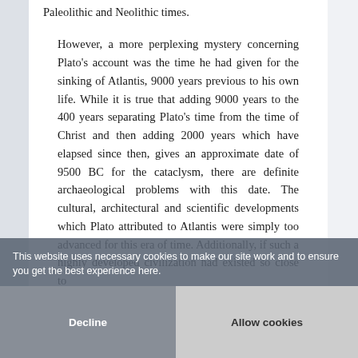Paleolithic and Neolithic times. However, a more perplexing mystery concerning Plato's account was the time he had given for the sinking of Atlantis, 9000 years previous to his own life. While it is true that adding 9000 years to the 400 years separating Plato's time from the time of Christ and then adding 2000 years which have elapsed since then, gives an approximate date of 9500 BC for the cataclysm, there are definite archaeological problems with this date. The cultural, architectural and scientific developments which Plato attributed to Atlantis were simply too advanced for this era of time. Additionally, if such a highly developed civilization had existed so close to
This website uses necessary cookies to make our site work and to ensure you get the best experience here.
Decline
Allow cookies